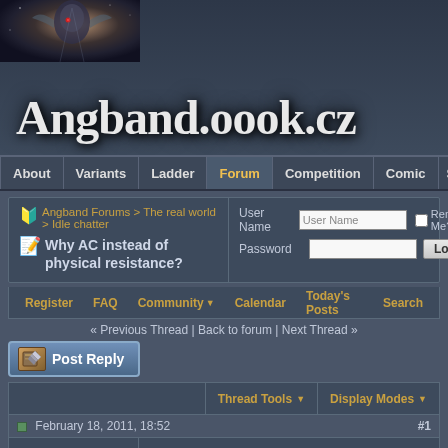[Figure (screenshot): Angband.oook.cz website header with fantasy character image and site logo]
Angband.oook.cz
About | Variants | Ladder | Forum | Competition | Comic | Scre...
Angband Forums > The real world > Idle chatter
Why AC instead of physical resistance?
User Name | Password | Remember Me? | Log in
Register | FAQ | Community | Calendar | Today's Posts | Search
« Previous Thread | Back to forum | Next Thread »
Post Reply
Thread Tools | Display Modes
February 18, 2011, 18:52 #1
pampl
RePosBand maintainer
Join Date: Sep 2008
Why AC instead of physical resistance?
Another pie-in-the-sky game mechanics question from pampl